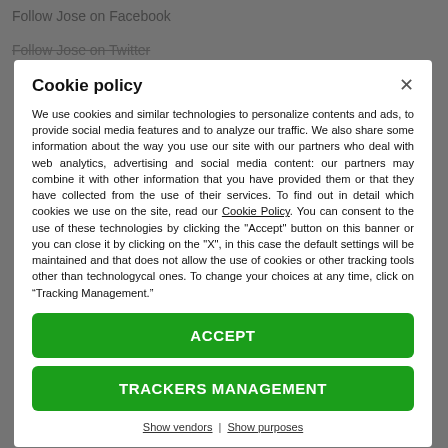Follow Jose on Facebook
Follow Jose on Twitter
Cookie policy
We use cookies and similar technologies to personalize contents and ads, to provide social media features and to analyze our traffic. We also share some information about the way you use our site with our partners who deal with web analytics, advertising and social media content: our partners may combine it with other information that you have provided them or that they have collected from the use of their services. To find out in detail which cookies we use on the site, read our Cookie Policy. You can consent to the use of these technologies by clicking the "Accept" button on this banner or you can close it by clicking on the "X", in this case the default settings will be maintained and that does not allow the use of cookies or other tracking tools other than technologycal ones. To change your choices at any time, click on “Tracking Management.”
ACCEPT
TRACKERS MANAGEMENT
Show vendors | Show purposes